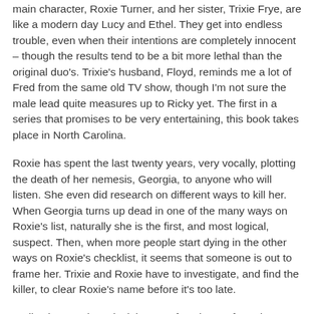main character, Roxie Turner, and her sister, Trixie Frye, are like a modern day Lucy and Ethel. They get into endless trouble, even when their intentions are completely innocent – though the results tend to be a bit more lethal than the original duo's. Trixie's husband, Floyd, reminds me a lot of Fred from the same old TV show, though I'm not sure the male lead quite measures up to Ricky yet. The first in a series that promises to be very entertaining, this book takes place in North Carolina.
Roxie has spent the last twenty years, very vocally, plotting the death of her nemesis, Georgia, to anyone who will listen. She even did research on different ways to kill her. When Georgia turns up dead in one of the many ways on Roxie's list, naturally she is the first, and most logical, suspect. Then, when more people start dying in the other ways on Roxie's checklist, it seems that someone is out to frame her. Trixie and Roxie have to investigate, and find the killer, to clear Roxie's name before it's too late.
Well written and comical, it was a fun change from the normal romantic suspense novels. It was slightly predictable